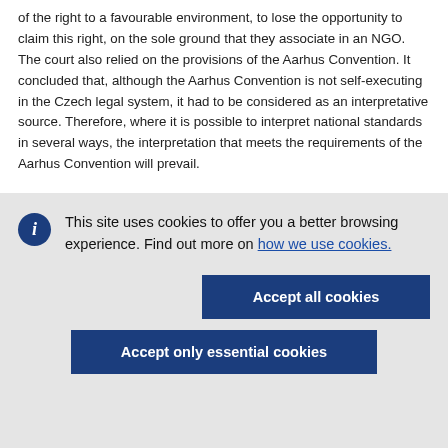of the right to a favourable environment, to lose the opportunity to claim this right, on the sole ground that they associate in an NGO. The court also relied on the provisions of the Aarhus Convention. It concluded that, although the Aarhus Convention is not self-executing in the Czech legal system, it had to be considered as an interpretative source. Therefore, where it is possible to interpret national standards in several ways, the interpretation that meets the requirements of the Aarhus Convention will prevail.
On this basis, the Constitutional Court concluded that it was
[Figure (screenshot): Cookie consent banner with dark blue info icon, message 'This site uses cookies to offer you a better browsing experience. Find out more on how we use cookies.' and two buttons: 'Accept all cookies' and 'Accept only essential cookies']